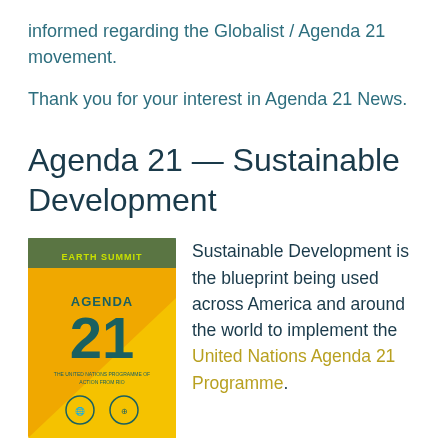informed regarding the Globalist / Agenda 21 movement.
Thank you for your interest in Agenda 21 News.
Agenda 21 — Sustainable Development
[Figure (illustration): Cover of the Earth Summit Agenda 21 book with orange and yellow background, teal text reading EARTH SUMMIT AGENDA 21, with UN logos at bottom.]
Sustainable Development is the blueprint being used across America and around the world to implement the United Nations Agenda 21 Programme.
To help keep you up-to-date on the transformation, Agenda21News delivers relevant news and information. You